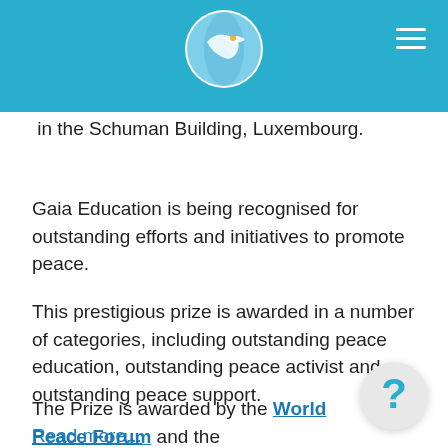Gaia Education website header with logo and navigation menu
in the Schuman Building, Luxembourg.
Gaia Education is being recognised for outstanding efforts and initiatives to promote peace.
This prestigious prize is awarded in a number of categories, including outstanding peace education, outstanding peace activist and outstanding peace support.
The Prize is awarded by the World Peace Forum and the
Read more...